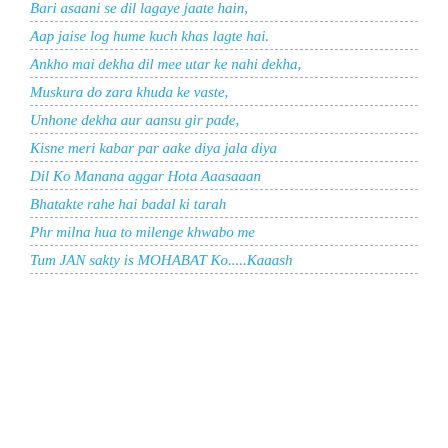Bari asaani se dil lagaye jaate hain,
Aap jaise log hume kuch khas lagte hai.
Ankho mai dekha dil mee utar ke nahi dekha,
Muskura do zara khuda ke vaste,
Unhone dekha aur aansu gir pade,
Kisne meri kabar par aake diya jala diya
Dil Ko Manana aggar Hota Aaasaaan
Bhatakte rahe hai badal ki tarah
Phr milna hua to milenge khwabo me
Tum JAN sakty is MOHABAT Ko.....Kaaash